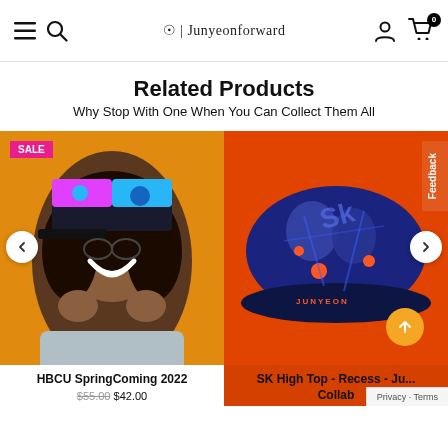☉ | Junyeonforward — navigation bar with menu, search, account, and cart icons
Related Products
Why Stop With One When You Can Collect Them All
[Figure (photo): Product photo of woman smiling wearing HBCU SpringComing 2022 colorful cap on orange background, with SALE badge]
HBCU SpringComing 2022
$55.00 $42.00
[Figure (photo): Product photo of SK High Top Recess Junyeonforward Collab cap — dark navy cap with blue/orange design on red/orange background]
SK High Top - Recess - Ju... Collab